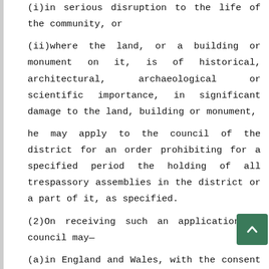(i)in serious disruption to the life of the community, or
(ii)where the land, or a building or monument on it, is of historical, architectural, archaeological or scientific importance, in significant damage to the land, building or monument,
he may apply to the council of the district for an order prohibiting for a specified period the holding of all trespassory assemblies in the district or a part of it, as specified.
(2)On receiving such an application, a council may—
(a)in England and Wales, with the consent of the